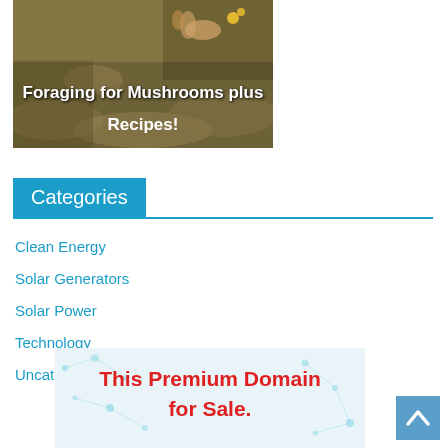[Figure (photo): A photo banner showing mushrooms being foraged with text 'Foraging for Mushrooms plus Recipes!' overlaid in white bold text]
Categories
Clean Energy
Solar Generators
Solar Power
Technology
Uncategorized
[Figure (infographic): Advertisement banner with light blue dot pattern background and red bold text reading 'This Premium Domain for Sale.']